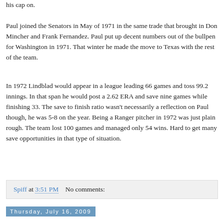his cap on.
Paul joined the Senators in May of 1971 in the same trade that brought in Don Mincher and Frank Fernandez. Paul put up decent numbers out of the bullpen for Washington in 1971. That winter he made the move to Texas with the rest of the team.
In 1972 Lindblad would appear in a league leading 66 games and toss 99.2 innings. In that span he would post a 2.62 ERA and save nine games while finishing 33. The save to finish ratio wasn't necessarily a reflection on Paul though, he was 5-8 on the year. Being a Ranger pitcher in 1972 was just plain rough. The team lost 100 games and managed only 54 wins. Hard to get many save opportunities in that type of situation.
Spiff at 3:51 PM    No comments:
Thursday, July 16, 2009